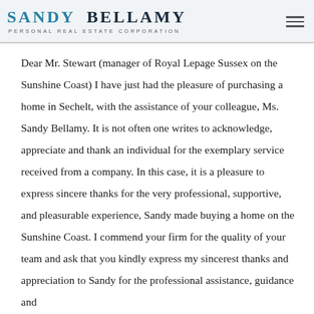Sandy Bellamy Personal Real Estate Corporation
Dear Mr. Stewart (manager of Royal Lepage Sussex on the Sunshine Coast) I have just had the pleasure of purchasing a home in Sechelt, with the assistance of your colleague, Ms. Sandy Bellamy. It is not often one writes to acknowledge, appreciate and thank an individual for the exemplary service received from a company. In this case, it is a pleasure to express sincere thanks for the very professional, supportive, and pleasurable experience, Sandy made buying a home on the Sunshine Coast. I commend your firm for the quality of your team and ask that you kindly express my sincerest thanks and appreciation to Sandy for the professional assistance, guidance and